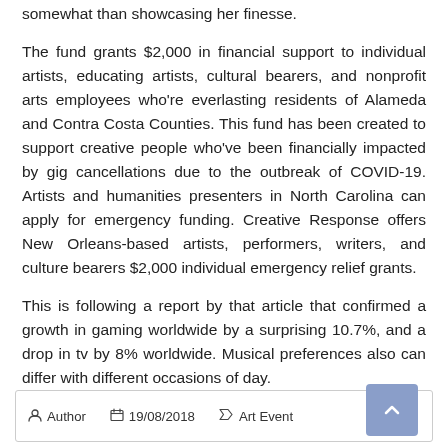somewhat than showcasing her finesse.
The fund grants $2,000 in financial support to individual artists, educating artists, cultural bearers, and nonprofit arts employees who're everlasting residents of Alameda and Contra Costa Counties. This fund has been created to support creative people who've been financially impacted by gig cancellations due to the outbreak of COVID-19. Artists and humanities presenters in North Carolina can apply for emergency funding. Creative Response offers New Orleans-based artists, performers, writers, and culture bearers $2,000 individual emergency relief grants.
This is following a report by that article that confirmed a growth in gaming worldwide by a surprising 10.7%, and a drop in tv by 8% worldwide. Musical preferences also can differ with different occasions of day.
Author   19/08/2018   Art Event